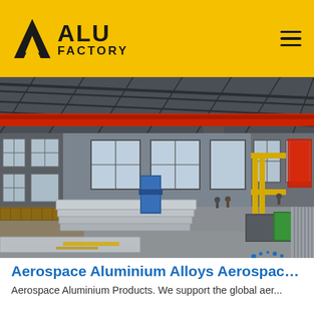ALU FACTORY
[Figure (photo): Interior of a large aluminium factory warehouse showing overhead red crane beam, stacked aluminium sheets on the floor, industrial equipment, and workers in the background under a steel roof structure with large windows.]
Aerospace Aluminium Alloys Aerospace G...
Aerospace Aluminium Products. We support the global aer...